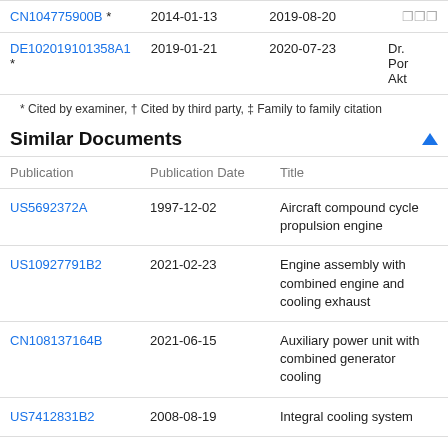| Publication | Filing Date | Publication Date |  |
| --- | --- | --- | --- |
| CN104775900B * | 2014-01-13 | 2019-08-20 |  |
| DE102019101358A1 * | 2019-01-21 | 2020-07-23 | Dr. Por Akt |
* Cited by examiner, † Cited by third party, ‡ Family to family citation
Similar Documents
| Publication | Publication Date | Title |
| --- | --- | --- |
| US5692372A | 1997-12-02 | Aircraft compound cycle propulsion engine |
| US10927791B2 | 2021-02-23 | Engine assembly with combined engine and cooling exhaust |
| CN108137164B | 2021-06-15 | Auxiliary power unit with combined generator cooling |
| US7412831B2 | 2008-08-19 | Integral cooling system |